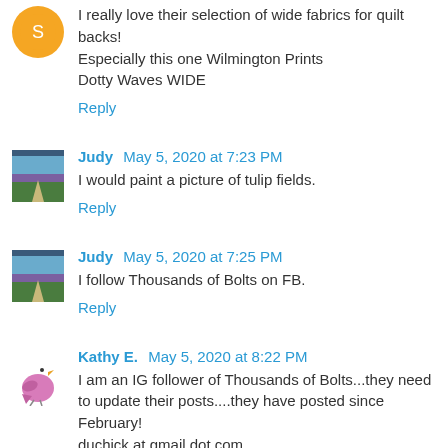I really love their selection of wide fabrics for quilt backs! Especially this one Wilmington Prints Dotty Waves WIDE
Reply
Judy  May 5, 2020 at 7:23 PM
I would paint a picture of tulip fields.
Reply
Judy  May 5, 2020 at 7:25 PM
I follow Thousands of Bolts on FB.
Reply
Kathy E.  May 5, 2020 at 8:22 PM
I am an IG follower of Thousands of Bolts...they need to update their posts....they have posted since February! duchick at gmail dot com